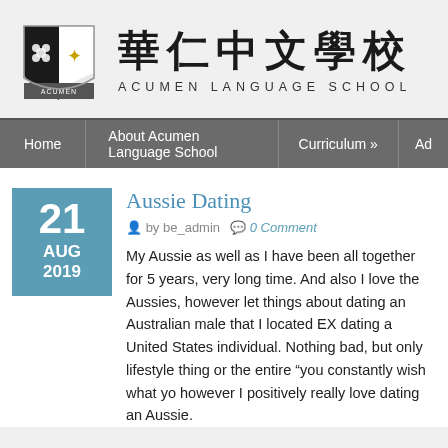[Figure (logo): Acumen Language School shield/crest logo with Chinese characters and maple leaf]
華仁中文學校
ACUMEN LANGUAGE SCHOOL
Home | About Acumen Language School | Curriculum » | Ad
Aussie Dating
by be_admin   0 Comment
My Aussie as well as I have been all together for 5 years, very long time. And also I love the Aussies, however let things about dating an Australian male that I located EX dating a United States individual. Nothing bad, but only lifestyle thing or the entire "you constantly wish what yo however I positively really love dating an Aussie.